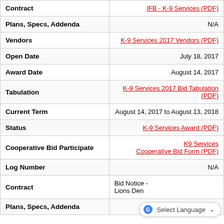| Field | Value |
| --- | --- |
| Contract | IFB - K-9 Services (PDF) |
| Plans, Specs, Addenda | N/A |
| Vendors | K-9 Services 2017 Vendors (PDF) |
| Open Date | July 18, 2017 |
| Award Date | August 14, 2017 |
| Tabulation | K-9 Services 2017 Bid Tabulation (PDF) |
| Current Term | August 14, 2017 to August 13, 2018 |
| Status | K-9 Services Award (PDF) |
| Cooperative Bid Participate | K9 Services Cooperative Bid Form (PDF) |
| Log Number | N/A |
| Contract | Bid Notice - Lions Den... |
| Plans, Specs, Addenda |  |